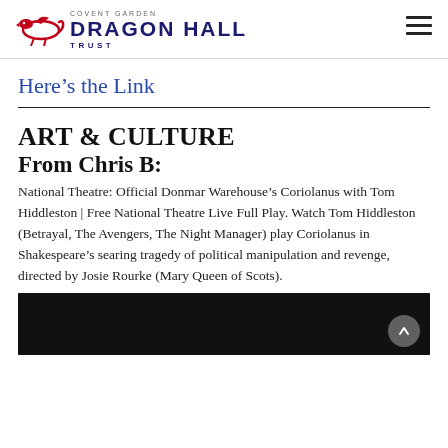[Figure (logo): Dragon Hall Trust Covent Garden logo with red dragon illustration and dark blue text]
Here’s the Link
ART & CULTURE
From Chris B:
National Theatre: Official Donmar Warehouse’s Coriolanus with Tom Hiddleston | Free National Theatre Live Full Play. Watch Tom Hiddleston (Betrayal, The Avengers, The Night Manager) play Coriolanus in Shakespeare’s searing tragedy of political manipulation and revenge, directed by Josie Rourke (Mary Queen of Scots).
[Figure (screenshot): Black video player block at the bottom of the page]